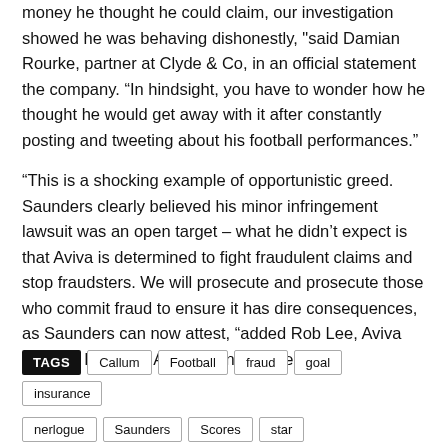money he thought he could claim, our investigation showed he was behaving dishonestly, "said Damian Rourke, partner at Clyde & Co, in an official statement the company. “In hindsight, you have to wonder how he thought he would get away with it after constantly posting and tweeting about his football performances."
“This is a shocking example of opportunistic greed. Saunders clearly believed his minor infringement lawsuit was an open target – what he didn’t expect is that Aviva is determined to fight fraudulent claims and stop fraudsters. We will prosecute and prosecute those who commit fraud to ensure it has dire consequences, as Saunders can now attest, “added Rob Lee, Aviva Head of Personal Accident Insurance.
TAGS  Callum  Football  fraud  goal  insurance